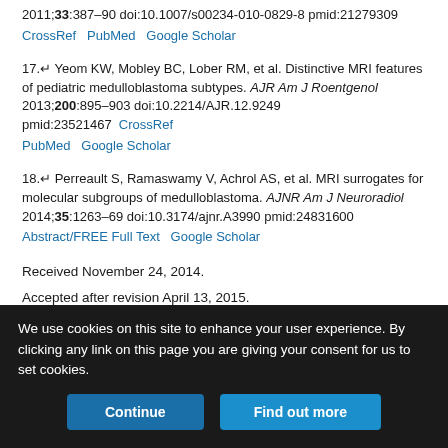2011;33:387–90 doi:10.1007/s00234-010-0829-8 pmid:21279309 CrossRef PubMed Google Scholar
17. Yeom KW, Mobley BC, Lober RM, et al. Distinctive MRI features of pediatric medulloblastoma subtypes. AJR Am J Roentgenol 2013;200:895–903 doi:10.2214/AJR.12.9249 pmid:23521467 CrossRef PubMed Google Scholar
18. Perreault S, Ramaswamy V, Achrol AS, et al. MRI surrogates for molecular subgroups of medulloblastoma. AJNR Am J Neuroradiol 2014;35:1263–69 doi:10.3174/ajnr.A3990 pmid:24831600 Abstract/FREE Full Text Google Scholar
Received November 24, 2014.
Accepted after revision April 13, 2015.
© 2015 by American Journal of Neuroradiology
We use cookies on this site to enhance your user experience. By clicking any link on this page you are giving your consent for us to set cookies.